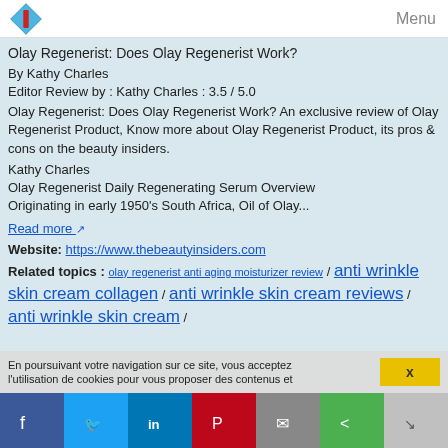Menu
Olay Regenerist: Does Olay Regenerist Work?
By Kathy Charles
Editor Review by : Kathy Charles : 3.5 / 5.0
Olay Regenerist: Does Olay Regenerist Work? An exclusive review of Olay Regenerist Product, Know more about Olay Regenerist Product, its pros & cons on the beauty insiders.
Kathy Charles
Olay Regenerist Daily Regenerating Serum Overview
Originating in early 1950's South Africa, Oil of Olay...
Read more
Website: https://www.thebeautyinsiders.com
Related topics : olay regenerist anti aging moisturizer review / anti wrinkle skin cream collagen / anti wrinkle skin cream reviews / anti wrinkle skin cream /
En poursuivant votre navigation sur ce site, vous acceptez l'utilisation de cookies pour vous proposer des contenus et